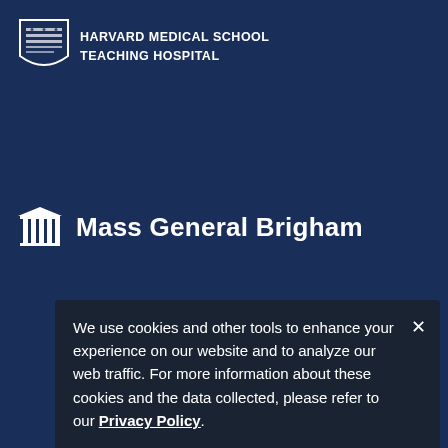[Figure (logo): Harvard Medical School Teaching Hospital shield logo with text]
[Figure (logo): Mass General Brigham logo with column/building icon]
© 2022 Brigham and Women's Hospital
Accessibility
Resources A-L
Resources M-Z
Disclaimer
Patient Privacy Notice
Privacy Policy
Sitemap
We use cookies and other tools to enhance your experience on our website and to analyze our web traffic. For more information about these cookies and the data collected, please refer to our Privacy Policy.